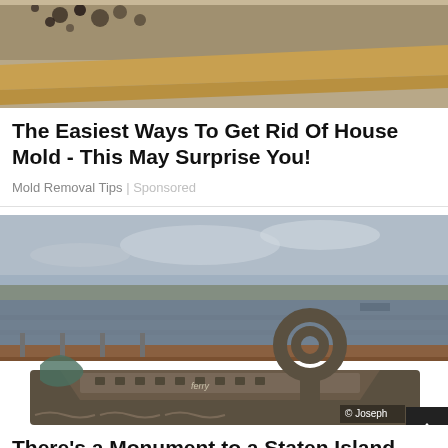[Figure (photo): Photo of house mold near a wooden ceiling or wall trim area]
The Easiest Ways To Get Rid Of House Mold - This May Surprise You!
Mold Removal Tips | Sponsored
[Figure (photo): Bronze sculpture of a Staten Island Ferry model displayed on a white pedestal with water in the background. Photo credit: © Joseph]
There's a Monument to a Staten Island